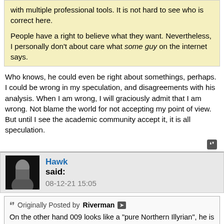with multiple professional tools. It is not hard to see who is correct here.

People have a right to believe what they want. Nevertheless, I personally don't about care what some guy on the internet says.
Who knows, he could even be right about somethings, perhaps. I could be wrong in my speculation, and disagreements with his analysis. When I am wrong, I will graciously admit that I am wrong. Not blame the world for not accepting my point of view. But until I see the academic community accept it, it is all speculation.
Hawk said: 08-12-21 15:05
Originally Posted by Riverman
On the other hand 009 looks like a "pure Northern Illyrian", he is fully in the J2b cluster from the British paper also and his distance to 0.02874863 HRV_MBA speaks for itself. That's a good match. HRV CA and EBA is a much worse match, because they received additional